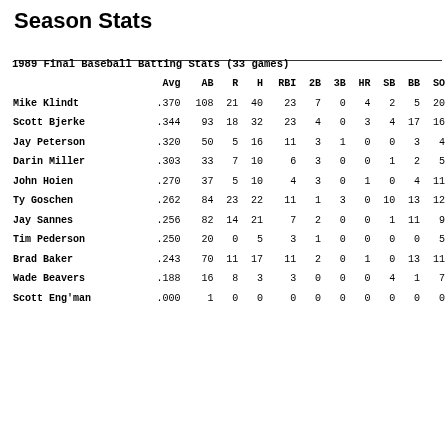Season Stats
|  | Avg | AB | R | H | RBI | 2B | 3B | HR | SB | BB | SO |
| --- | --- | --- | --- | --- | --- | --- | --- | --- | --- | --- | --- |
| Mike Klindt | .370 | 108 | 21 | 40 | 23 | 7 | 0 | 4 | 2 | 5 | 20 |
| Scott Bjerke | .344 | 93 | 18 | 32 | 23 | 4 | 0 | 3 | 4 | 17 | 16 |
| Jay Peterson | .320 | 50 | 5 | 16 | 11 | 3 | 1 | 0 | 0 | 3 | 4 |
| Darin Miller | .303 | 33 | 7 | 10 | 6 | 3 | 0 | 0 | 1 | 2 | 5 |
| John Hoien | .270 | 37 | 5 | 10 | 4 | 3 | 0 | 1 | 0 | 4 | 11 |
| Ty Goschen | .262 | 84 | 23 | 22 | 11 | 1 | 3 | 0 | 10 | 13 | 12 |
| Jay Sannes | .256 | 82 | 14 | 21 | 7 | 2 | 0 | 0 | 1 | 11 | 9 |
| Tim Pederson | .250 | 20 | 0 | 5 | 3 | 1 | 0 | 0 | 0 | 0 | 5 |
| Brad Baker | .243 | 70 | 11 | 17 | 11 | 2 | 0 | 1 | 0 | 13 | 11 |
| Wade Beavers | .188 | 16 | 8 | 3 | 3 | 0 | 0 | 0 | 4 | 1 | 7 |
| Scott Eng'man | .000 | 1 | 0 | 0 | 0 | 0 | 0 | 0 | 0 | 0 | 0 |